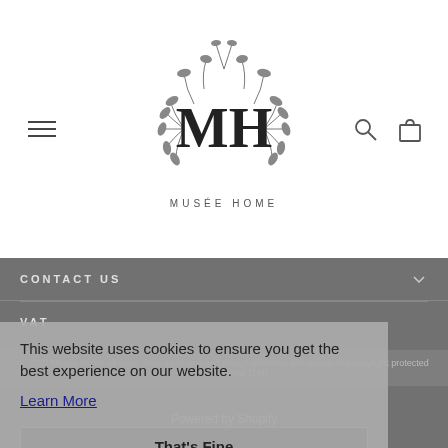[Figure (logo): Musée Home logo with stylized MH monogram inside a laurel wreath, text MUSÉE HOME below]
CONTACT US
VAT
GBP £
[Figure (infographic): Row of payment method badges: Amex, Apple Pay, Google Pay, Amazon Pay, PayPal, Maestro, Mastercard, PayPal, Apple Pay, Visa]
This website uses cookies to ensure you get the best experience on our website.
Learn More
That's Fine
© 2020 Musee Home All copy, descriptive text and design elements are owned and copyright protected by Musée Home (TM)
Powered by Shopify